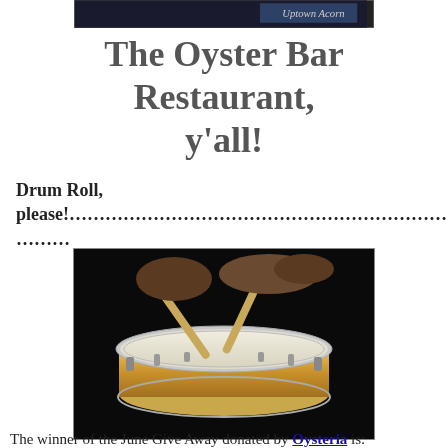[Figure (photo): Small dark banner image with text 'Uptown Acorn' in the upper right corner]
The Oyster Bar Restaurant, y'all!
Drum Roll, please!………………………………………………………………………………………………
[Figure (photo): A snare drum being struck by two drumsticks, photographed on a black background. The drum has a light tan/yellow shell with silver hardware.]
The winner of the June Give Away donated by Oysteria is: